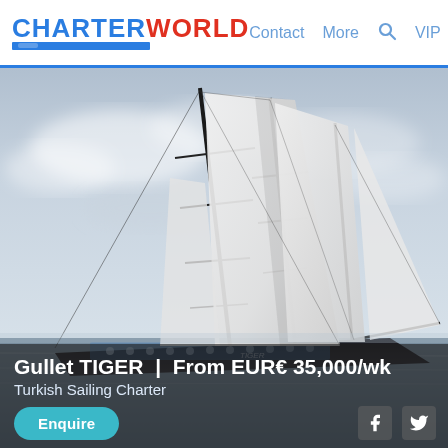CHARTERWORLD | Contact  More  VIP
[Figure (photo): Large sailing yacht/gullet named TIGER with tall white sails against a cloudy sky, dark hull, photographed at sea. Turkish sailing charter vessel.]
Gullet TIGER | From EUR€ 35,000/wk
Turkish Sailing Charter
Enquire